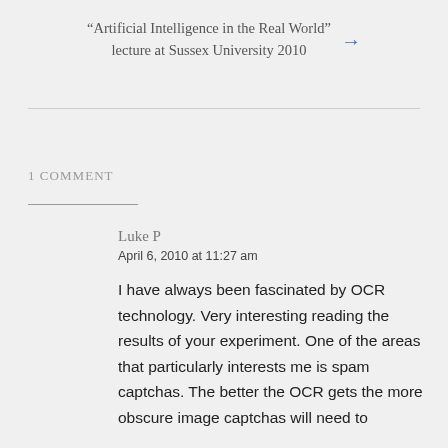“Artificial Intelligence in the Real World” lecture at Sussex University 2010 →
1 COMMENT
Luke P
April 6, 2010 at 11:27 am

I have always been fascinated by OCR technology. Very interesting reading the results of your experiment. One of the areas that particularly interests me is spam captchas. The better the OCR gets the more obscure image captchas will need to